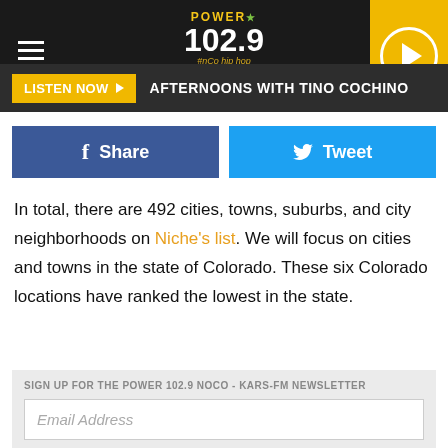Power 102.9 NoCo Hip Hop | LISTEN NOW | AFTERNOONS WITH TINO COCHINO
In total, there are 492 cities, towns, suburbs, and city neighborhoods on Niche's list. We will focus on cities and towns in the state of Colorado. These six Colorado locations have ranked the lowest in the state.
SIGN UP FOR THE POWER 102.9 NOCO - KARS-FM NEWSLETTER
THESE ARE THE 6 WORST TOWNS TO RAISE A FAMILY IN COLORADO